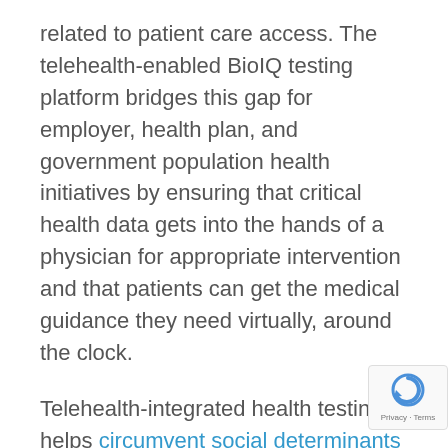related to patient care access. The telehealth-enabled BioIQ testing platform bridges this gap for employer, health plan, and government population health initiatives by ensuring that critical health data gets into the hands of a physician for appropriate intervention and that patients can get the medical guidance they need virtually, around the clock.
Telehealth-integrated health testing helps circumvent social determinants of health and health disparities by enabling virtual care avenues that are more viable in rural and low socio-economic settings, where challenges related to transportation and missed time from work deter engagement. Telehealth also enables more convenient care access among
[Figure (other): reCAPTCHA badge with Privacy and Terms text in bottom right corner]